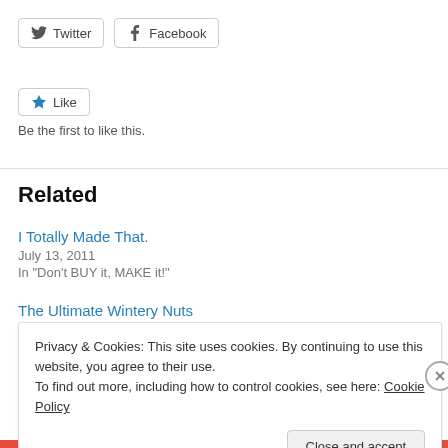[Figure (other): Social share buttons: Twitter and Facebook]
[Figure (other): Like button with star icon]
Be the first to like this.
Related
I Totally Made That.
July 13, 2011
In "Don't BUY it, MAKE it!"
The Ultimate Wintery Nuts
Privacy & Cookies: This site uses cookies. By continuing to use this website, you agree to their use.
To find out more, including how to control cookies, see here: Cookie Policy
Close and accept